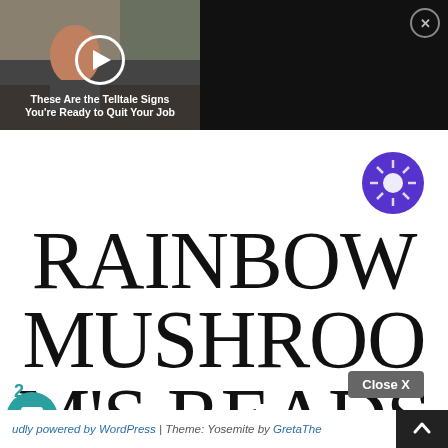[Figure (screenshot): Video thumbnail showing a person at a desk with overlay text 'These Are the Telltale Signs You're Ready to Quit Your Job' and a play button]
These Are the Telltale Signs You're Ready to Quit Your Job
[Figure (other): Purple circle with sun/brightness icon]
RAINBOW MUSHROOMS READS
2
[Figure (other): Teal chat bubble icon]
Close X
Proudly powered by WordPress | Theme: Yosemite by GretaThemes